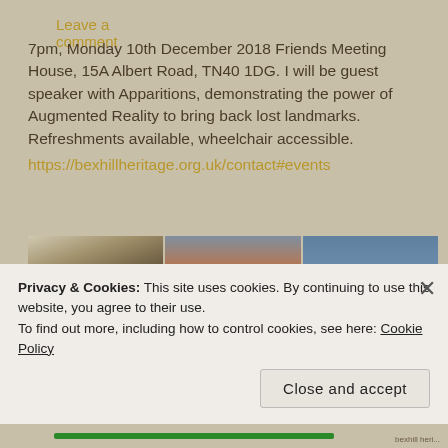Leave a comment
7pm, Monday 10th December 2018 Friends Meeting House, 15A Albert Road, TN40 1DG. I will be guest speaker with Apparitions, demonstrating the power of Augmented Reality to bring back lost landmarks. Refreshments available, wheelchair accessible.
https://bexhillheritage.org.uk/contact#events
[Figure (photo): Three photos side by side: left shows an indoor scene with tea set and antique clock; middle shows a newspaper page with a sunset photo and headline 'artwork brings lost marks back to life'; right shows a town square with a clock tower and people walking.]
Privacy & Cookies: This site uses cookies. By continuing to use this website, you agree to their use.
To find out more, including how to control cookies, see here: Cookie Policy
Close and accept